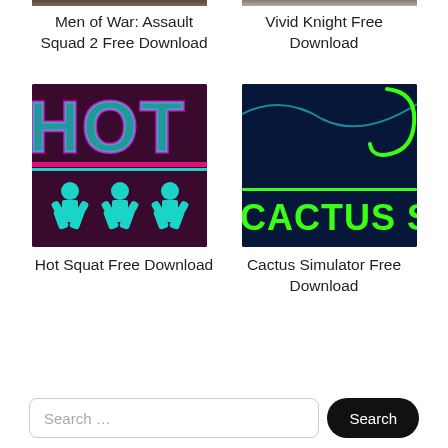[Figure (screenshot): Men of War: Assault Squad 2 game thumbnail (partial, top cropped)]
Men of War: Assault Squad 2 Free Download
[Figure (screenshot): Vivid Knight game thumbnail (partial, top cropped)]
Vivid Knight Free Download
[Figure (screenshot): Hot Squat game thumbnail - dark purple background with cyan/magenta HOT S text and three green squat figures]
Hot Squat Free Download
[Figure (screenshot): Cactus Simulator game thumbnail - dark blue background with neon green CACTUS S text and a neon snake/cactus shape]
Cactus Simulator Free Download